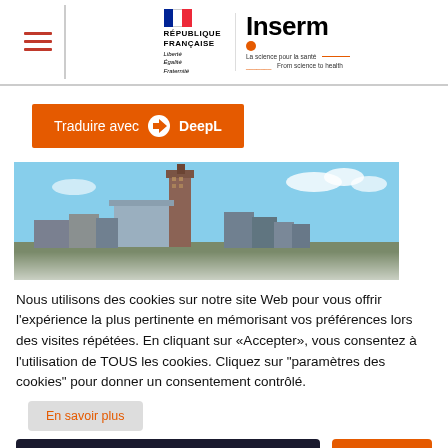RÉPUBLIQUE FRANÇAISE — Inserm — La science pour la santé / From science to health
Traduire avec DeepL
[Figure (photo): City skyline photo showing tall buildings against a blue sky]
Nous utilisons des cookies sur notre site Web pour vous offrir l'expérience la plus pertinente en mémorisant vos préférences lors des visites répétées. En cliquant sur «Accepter», vous consentez à l'utilisation de TOUS les cookies. Cliquez sur "paramètres des cookies" pour donner un consentement contrôlé.
En savoir plus
Paramètres des cookies
Accepter
The CDC plans to, for the first time, Control and Prevention will host the International Conference on Emerging Infectious Diseases (ICEID) March 6-9, 2022, at the Hyatt Regency